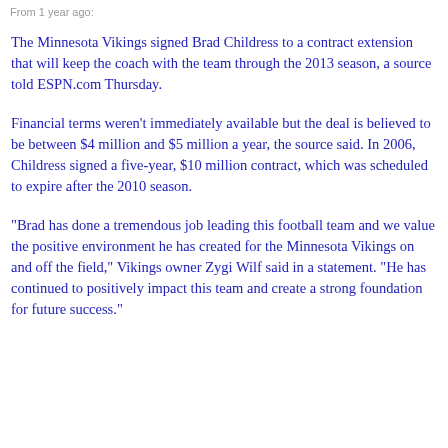From 1 year ago:
The Minnesota Vikings signed Brad Childress to a contract extension that will keep the coach with the team through the 2013 season, a source told ESPN.com Thursday.
Financial terms weren't immediately available but the deal is believed to be between $4 million and $5 million a year, the source said. In 2006, Childress signed a five-year, $10 million contract, which was scheduled to expire after the 2010 season.
"Brad has done a tremendous job leading this football team and we value the positive environment he has created for the Minnesota Vikings on and off the field," Vikings owner Zygi Wilf said in a statement. "He has continued to positively impact this team and create a strong foundation for future success."